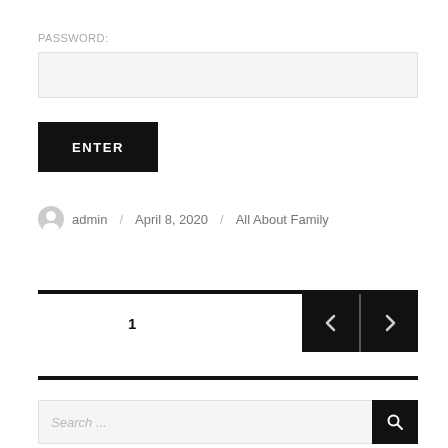PASSWORD:
ENTER
admin / April 8, 2020 / All About Family
1
Search ...